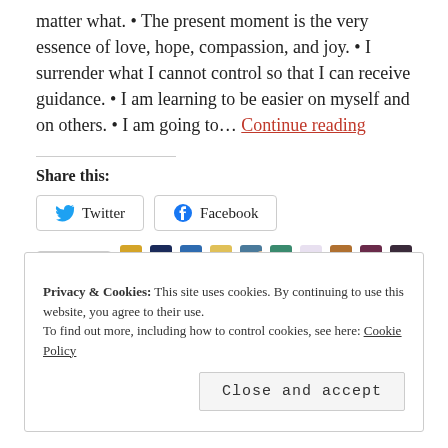matter what. • The present moment is the very essence of love, hope, compassion, and joy. • I surrender what I cannot control so that I can receive guidance. • I am learning to be easier on myself and on others. • I am going to… Continue reading
Share this:
Twitter  Facebook
Like  [avatars]  13 bloggers like this.
Privacy & Cookies: This site uses cookies. By continuing to use this website, you agree to their use. To find out more, including how to control cookies, see here: Cookie Policy  Close and accept